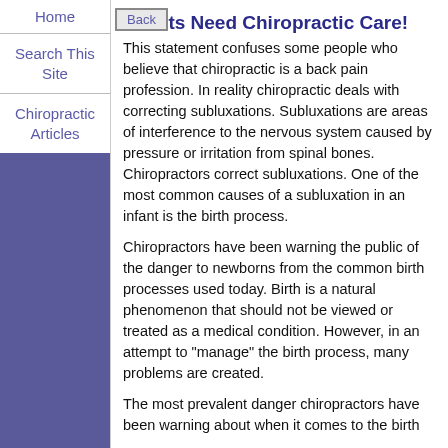Home | Back
Search This Site
Chiropractic Articles
Infants Need Chiropractic Care!
This statement confuses some people who believe that chiropractic is a back pain profession. In reality chiropractic deals with correcting subluxations. Subluxations are areas of interference to the nervous system caused by pressure or irritation from spinal bones. Chiropractors correct subluxations. One of the most common causes of a subluxation in an infant is the birth process.
Chiropractors have been warning the public of the danger to newborns from the common birth processes used today. Birth is a natural phenomenon that should not be viewed or treated as a medical condition. However, in an attempt to "manage" the birth process, many problems are created.
The most prevalent danger chiropractors have been warning about when it comes to the birth